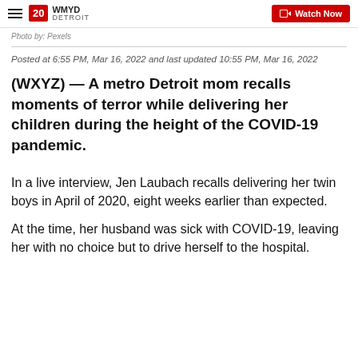WMYD DETROIT — Watch Now
Photo by: Pexels
Posted at 6:55 PM, Mar 16, 2022 and last updated 10:55 PM, Mar 16, 2022
(WXYZ) — A metro Detroit mom recalls moments of terror while delivering her children during the height of the COVID-19 pandemic.
In a live interview, Jen Laubach recalls delivering her twin boys in April of 2020, eight weeks earlier than expected.
At the time, her husband was sick with COVID-19, leaving her with no choice but to drive herself to the hospital.